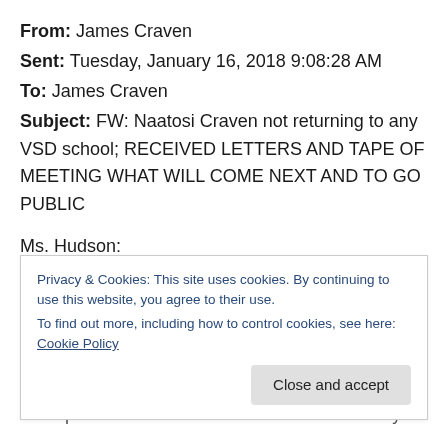From: James Craven
Sent: Tuesday, January 16, 2018 9:08:28 AM
To: James Craven
Subject: FW: Naatosi Craven not returning to any VSD school; RECEIVED LETTERS AND TAPE OF MEETING WHAT WILL COME NEXT AND TO GO PUBLIC
Ms. Hudson:
I received your response/non-response to my own inquiries and request that any meeting about options for
been presented these facts and still refuse to cyber
Privacy & Cookies: This site uses cookies. By continuing to use this website, you agree to their use.
To find out more, including how to control cookies, see here: Cookie Policy
Close and accept